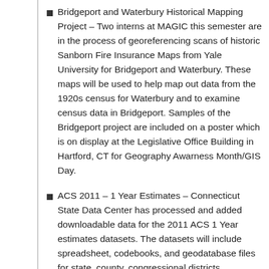Bridgeport and Waterbury Historical Mapping Project – Two interns at MAGIC this semester are in the process of georeferencing scans of historic Sanborn Fire Insurance Maps from Yale University for Bridgeport and Waterbury. These maps will be used to help map out data from the 1920s census for Waterbury and to examine census data in Bridgeport. Samples of the Bridgeport project are included on a poster which is on display at the Legislative Office Building in Hartford, CT for Geography Awarness Month/GIS Day.
ACS 2011 – 1 Year Estimates – Connecticut State Data Center has processed and added downloadable data for the 2011 ACS 1 Year estimates datasets. The datasets will include spreadsheet, codebooks, and geodatabase files for state, county, congressional districts...